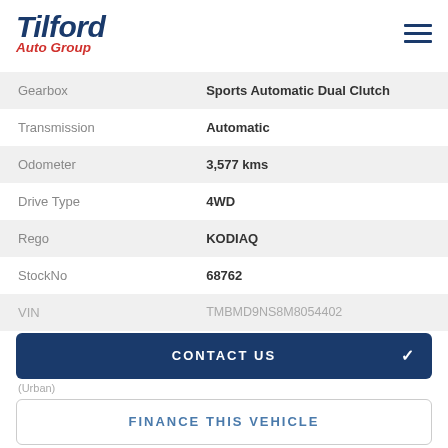[Figure (logo): Tilford Auto Group logo with blue italic Tilford text and red Auto Group text below]
| Gearbox | Sports Automatic Dual Clutch |
| Transmission | Automatic |
| Odometer | 3,577 kms |
| Drive Type | 4WD |
| Rego | KODIAQ |
| StockNo | 68762 |
| VIN | TMBMD9NS8M8054402 |
CONTACT US
(Urban)
FINANCE THIS VEHICLE